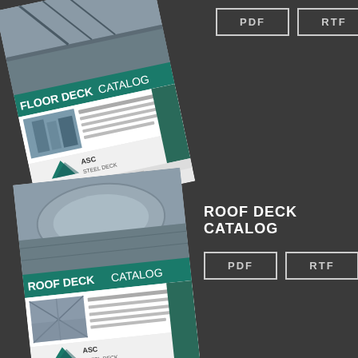[Figure (illustration): Floor Deck Catalog cover thumbnail, rotated, showing construction photos and ASC Steel Deck branding with teal green header strip]
PDF
RTF
[Figure (illustration): Roof Deck Catalog cover thumbnail, slightly rotated, showing aerial construction photo and ASC Steel Deck branding with teal green header strip]
ROOF DECK CATALOG
PDF
RTF